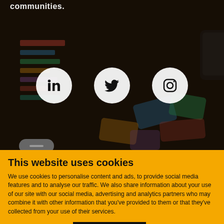[Figure (screenshot): Dark-tinted background showing colorful cards/charts spread on a table with a hand holding a phone. Three white circular social media icons (LinkedIn, Twitter, Instagram) are centered in the image. Text 'communities.' visible at top left.]
This website uses cookies
We use cookies to personalise content and ads, to provide social media features and to analyse our traffic. We also share information about your use of our site with our social media, advertising and analytics partners who may combine it with other information that you've provided to them or that they've collected from your use of their services.
Deny  Allow selection  Allow all
Necessary  Preferences  Statistics  Marketing  Show details